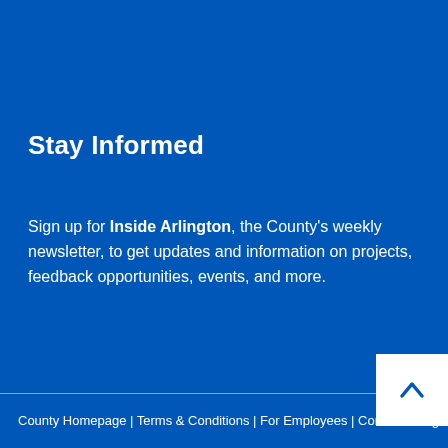Stay Informed
Sign up for Inside Arlington, the County's weekly newsletter, to get updates and information on projects, feedback opportunities, events, and more.
County Homepage | Terms & Conditions | For Employees | Contact Arlington